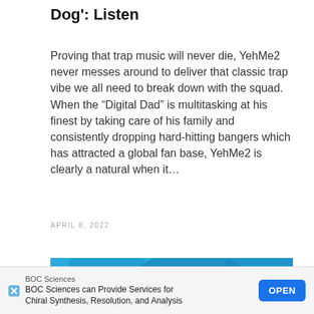Dog': Listen
Proving that trap music will never die, YehMe2 never messes around to deliver that classic trap vibe we all need to break down with the squad. When the “Digital Dad” is multitasking at his finest by taking care of his family and consistently dropping hard-hitting bangers which has attracted a global fan base, YehMe2 is clearly a natural when it…
APRIL 8, 2022
[Figure (photo): Partial blue-toned concert or urban scene image]
BOC Sciences
BOC Sciences can Provide Services for Chiral Synthesis, Resolution, and Analysis